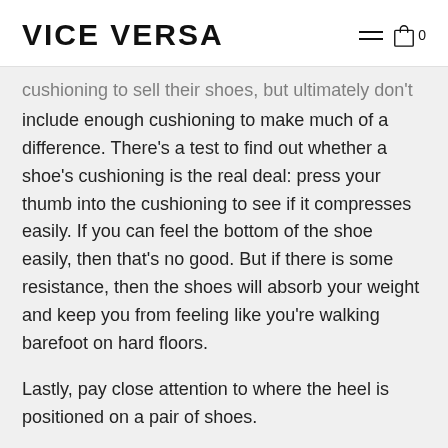VICE VERSA
cushioning to sell their shoes, but ultimately don't include enough cushioning to make much of a difference. There's a test to find out whether a shoe's cushioning is the real deal: press your thumb into the cushioning to see if it compresses easily. If you can feel the bottom of the shoe easily, then that's no good. But if there is some resistance, then the shoes will absorb your weight and keep you from feeling like you're walking barefoot on hard floors.
Lastly, pay close attention to where the heel is positioned on a pair of shoes.